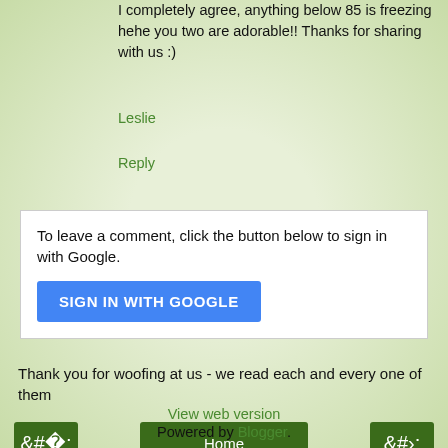I completely agree, anything below 85 is freezing hehe you two are adorable!! Thanks for sharing with us :)
Leslie
Reply
To leave a comment, click the button below to sign in with Google.
SIGN IN WITH GOOGLE
Thank you for woofing at us - we read each and every one of them
‹
Home
›
View web version
Powered by Blogger.